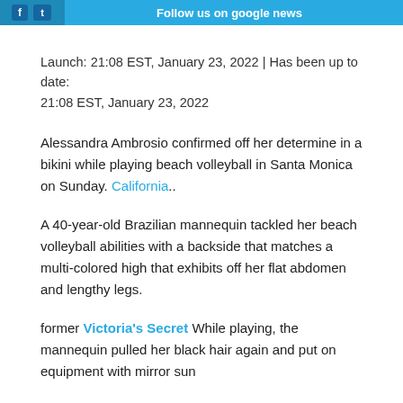Follow us on google news
Launch: 21:08 EST, January 23, 2022 | Has been up to date: 21:08 EST, January 23, 2022
Alessandra Ambrosio confirmed off her determine in a bikini while playing beach volleyball in Santa Monica on Sunday. California..
A 40-year-old Brazilian mannequin tackled her beach volleyball abilities with a backside that matches a multi-colored high that exhibits off her flat abdomen and lengthy legs.
former Victoria's Secret While playing, the mannequin pulled her black hair again and put on equipment with mirror sun